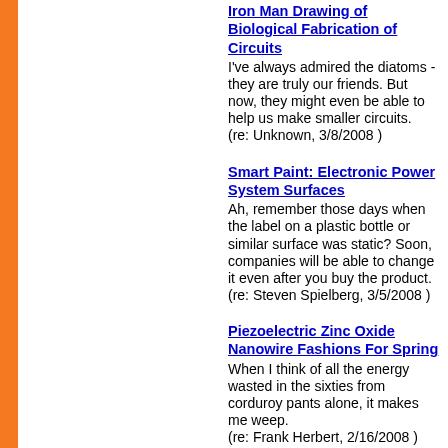Iron Man Drawing of Biological Fabrication of Circuits
I've always admired the diatoms - they are truly our friends. But now, they might even be able to help us make smaller circuits.
(re: Unknown, 3/8/2008 )
Smart Paint: Electronic Power System Surfaces
Ah, remember those days when the label on a plastic bottle or similar surface was static? Soon, companies will be able to change it even after you buy the product.
(re: Steven Spielberg, 3/5/2008 )
Piezoelectric Zinc Oxide Nanowire Fashions For Spring
When I think of all the energy wasted in the sixties from corduroy pants alone, it makes me weep.
(re: Frank Herbert, 2/16/2008 )
Nanofibers In Unlimited Lengths Now Available
I don't need fibers that are actually unlimited; nanotubes that were long enough to reach the ISS are probably long enough...
(re: Arthur C. Clarke, 2/13/2008 )